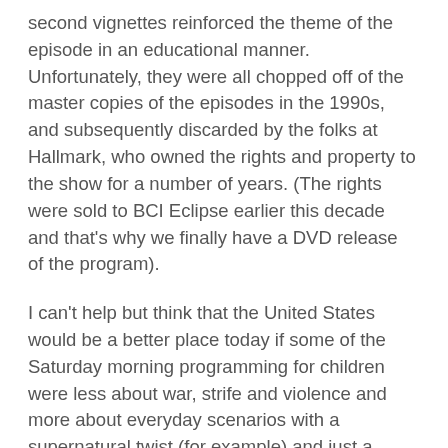second vignettes reinforced the theme of the episode in an educational manner. Unfortunately, they were all chopped off of the master copies of the episodes in the 1990s, and subsequently discarded by the folks at Hallmark, who owned the rights and property to the show for a number of years. (The rights were sold to BCI Eclipse earlier this decade and that's why we finally have a DVD release of the program).
I can't help but think that the United States would be a better place today if some of the Saturday morning programming for children were less about war, strife and violence and more about everyday scenarios with a supernatural twist (for example) and just a touch of a moral message through the show. The moral messages through the Filmation Productions, including Shazam and Isis, certainly had a HUGE impact on me as a child and quite frankly had a big part of the shaping of my adult moral foundation. Isis didn't tell me how to think